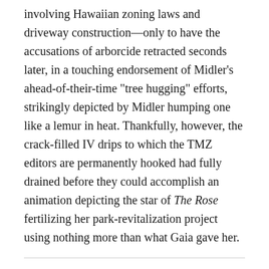involving Hawaiian zoning laws and driveway construction—only to have the accusations of arborcide retracted seconds later, in a touching endorsement of Midler's ahead-of-their-time "tree hugging" efforts, strikingly depicted by Midler humping one like a lemur in heat. Thankfully, however, the crack-filled IV drips to which the TMZ editors are permanently hooked had fully drained before they could accomplish an animation depicting the star of The Rose fertilizing her park-revitalization project using nothing more than what Gaia gave her.
Bette Midler Too Proud To